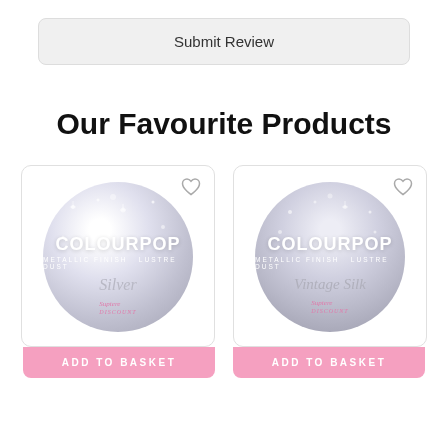Submit Review
Our Favourite Products
[Figure (photo): ColourPop Metallic Finish Lustre Dust product circle labeled Silver with sparkly silver background]
[Figure (photo): ColourPop Metallic Finish Lustre Dust product circle labeled Vintage Silk with sparkly silver/grey background]
ADD TO BASKET
ADD TO BASKET